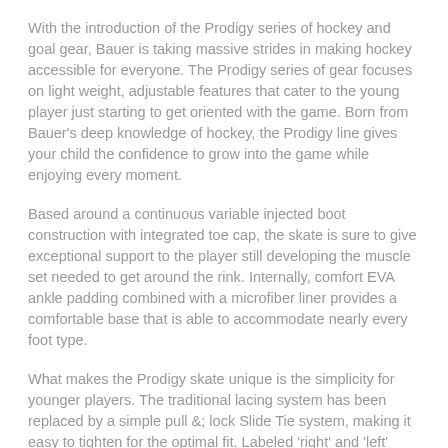With the introduction of the Prodigy series of hockey and goal gear, Bauer is taking massive strides in making hockey accessible for everyone. The Prodigy series of gear focuses on light weight, adjustable features that cater to the young player just starting to get oriented with the game. Born from Bauer's deep knowledge of hockey, the Prodigy line gives your child the confidence to grow into the game while enjoying every moment.
Based around a continuous variable injected boot construction with integrated toe cap, the skate is sure to give exceptional support to the player still developing the muscle set needed to get around the rink. Internally, comfort EVA ankle padding combined with a microfiber liner provides a comfortable base that is able to accommodate nearly every foot type.
What makes the Prodigy skate unique is the simplicity for younger players. The traditional lacing system has been replaced by a simple pull &; lock Slide Tie system, making it easy to tighten for the optimal fit. Labeled 'right' and 'left' skates make it easy for players to learn putting on their own gear. [SIGN UP & SAVE!] foot bed insert creates an adjustable fit to ng player grows. With the insert in the skate, the fit begins at the low end of the size range and as the